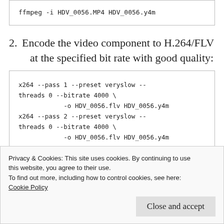ffmpeg -i HDV_0056.MP4 HDV_0056.y4m
2. Encode the video component to H.264/FLV at the specified bit rate with good quality:
x264 --pass 1 --preset veryslow --
threads 0 --bitrate 4000 \
        -o HDV_0056.flv HDV_0056.y4m
x264 --pass 2 --preset veryslow --
threads 0 --bitrate 4000 \
        -o HDV_0056.flv HDV_0056.y4m
Privacy & Cookies: This site uses cookies. By continuing to use this website, you agree to their use.
To find out more, including how to control cookies, see here:
Cookie Policy
Close and accept